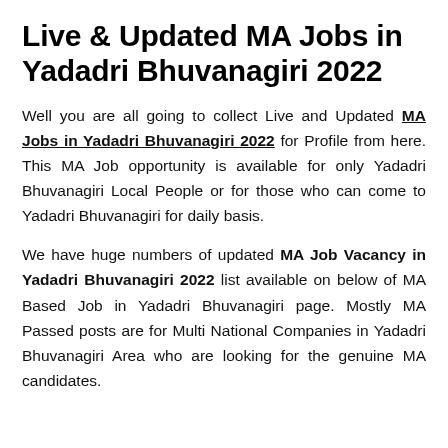Live & Updated MA Jobs in Yadadri Bhuvanagiri 2022
Well you are all going to collect Live and Updated MA Jobs in Yadadri Bhuvanagiri 2022 for Profile from here. This MA Job opportunity is available for only Yadadri Bhuvanagiri Local People or for those who can come to Yadadri Bhuvanagiri for daily basis.
We have huge numbers of updated MA Job Vacancy in Yadadri Bhuvanagiri 2022 list available on below of MA Based Job in Yadadri Bhuvanagiri page. Mostly MA Passed posts are for Multi National Companies in Yadadri Bhuvanagiri Area who are looking for the genuine MA candidates.